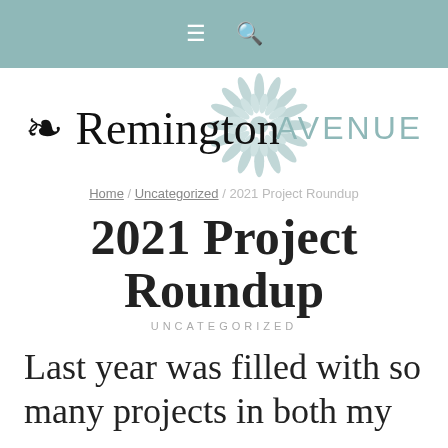Navigation bar with menu and search icons
[Figure (logo): Remington Avenue blog logo with script 'Remington' text and teal 'AVENUE' lettering, with a teal chrysanthemum/snowflake circle graphic behind the text]
Home / Uncategorized / 2021 Project Roundup
2021 Project Roundup
UNCATEGORIZED
Last year was filled with so many projects in both my